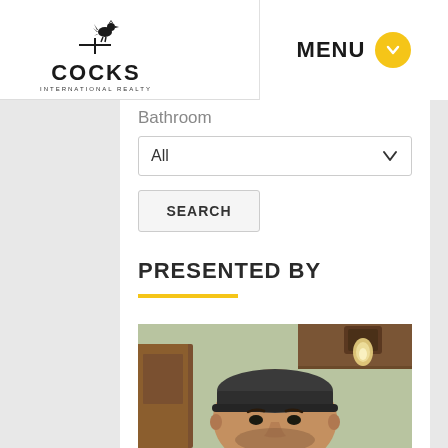[Figure (logo): Cocks International Realty logo with rooster weathervane icon above the text COCKS and INTERNATIONAL REALTY below]
MENU
Bathroom
All
SEARCH
PRESENTED BY
[Figure (photo): Portrait photo of a man wearing a dark cap, taken indoors with a light fixture visible in the background]